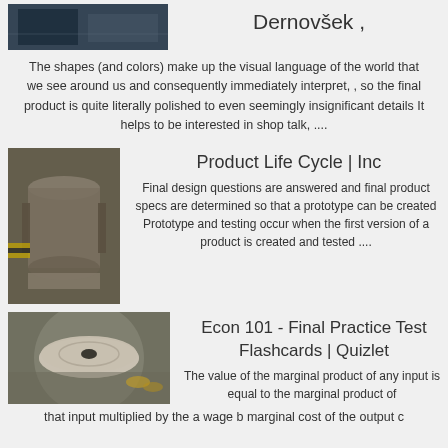[Figure (photo): Dark industrial/workshop photo, partially visible at top]
Dernovšek ,
The shapes (and colors) make up the visual language of the world that we see around us and consequently immediately interpret, , so the final product is quite literally polished to even seemingly insignificant details It helps to be interested in shop talk, ....
[Figure (photo): Industrial metal component - large cylindrical vessel or casing in a workshop setting]
Product Life Cycle | Inc
Final design questions are answered and final product specs are determined so that a prototype can be created Prototype and testing occur when the first version of a product is created and tested ....
[Figure (photo): Polished metal disc/flange component on a workshop surface]
Econ 101 - Final Practice Test Flashcards | Quizlet
The value of the marginal product of any input is equal to the marginal product of that input multiplied by the a wage b marginal cost of the output c